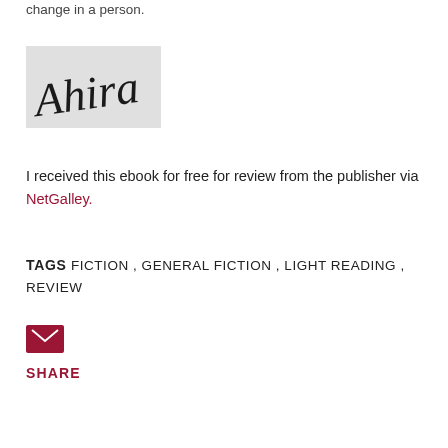change in a person.
[Figure (illustration): Handwritten cursive signature reading 'Ahira' on a light gray background rectangle]
I received this ebook for free for review from the publisher via NetGalley.
TAGS FICTION , GENERAL FICTION , LIGHT READING , REVIEW
[Figure (other): Email/envelope icon button in dark red/maroon color]
SHARE